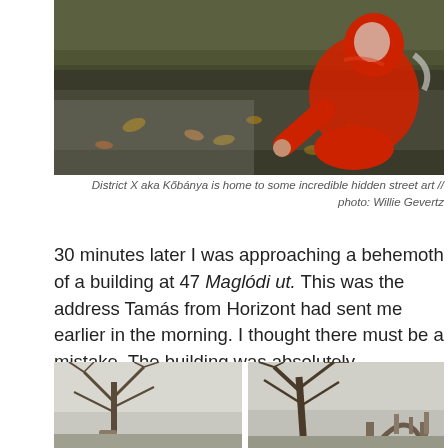[Figure (photo): Outdoor photo showing a person in a red hoodie crouching near a wet surface with fallen leaves on the ground.]
District X aka Kőbánya is home to some incredible hidden street art // photo: Willie Gevertz
30 minutes later I was approaching a behemoth of a building at 47 Maglódi ut. This was the address Tamás from Horizont had sent me earlier in the morning. I thought there must be a mistake. The building was absolutely gargantuan and seemed far too large for a small, independently run craft beer operation.
[Figure (photo): Two outdoor photographs side by side showing bare trees and architectural structures in a grey, overcast setting.]